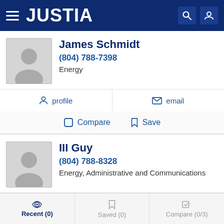JUSTIA
James Schmidt
(804) 788-7398
Energy
profile
email
Compare
Save
III Guy
(804) 788-8328
Energy, Administrative and Communications
profile
email
Compare
Save
Recent (0)  Saved (0)  Compare (0/3)